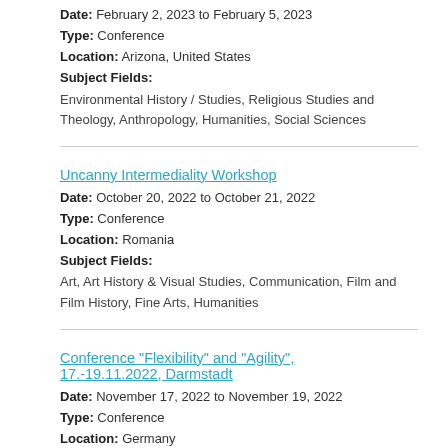Date: February 2, 2023 to February 5, 2023
Type: Conference
Location: Arizona, United States
Subject Fields:
Environmental History / Studies, Religious Studies and Theology, Anthropology, Humanities, Social Sciences
Uncanny Intermediality Workshop
Date: October 20, 2022 to October 21, 2022
Type: Conference
Location: Romania
Subject Fields:
Art, Art History & Visual Studies, Communication, Film and Film History, Fine Arts, Humanities
Conference "Flexibility" and "Agility", 17.-19.11.2022, Darmstadt
Date: November 17, 2022 to November 19, 2022
Type: Conference
Location: Germany
Subject Fields:
Labor History / Studies, History of Science, Medicine, and Technology, German History / Studies,